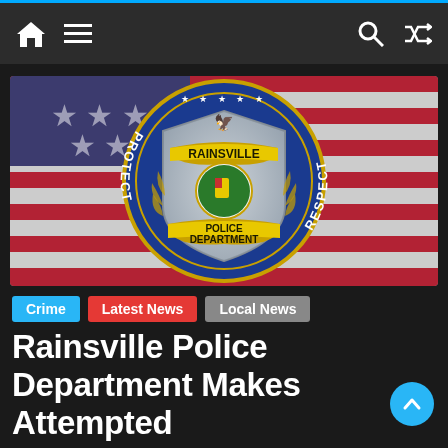Navigation bar with home, menu, search, and shuffle icons
[Figure (logo): Rainsville Police Department official badge/seal logo with blue border reading PROTECT and RESPECT, silver shield with RAINSVILLE banner and POLICE DEPARTMENT ribbon, American flag background, and Alabama state emblem in center]
Crime
Latest News
Local News
Rainsville Police Department Makes Attempted